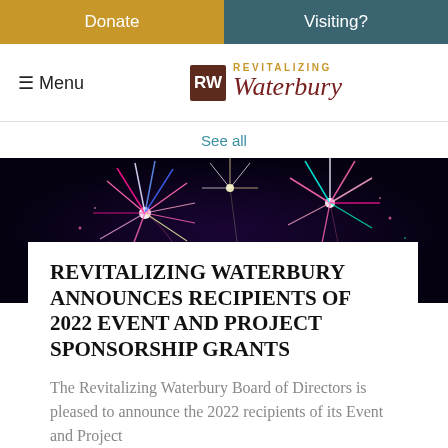Donate
Visiting?
[Figure (logo): Revitalizing Waterbury logo with RW monogram in dark red box and cursive Waterbury text in red with gold REVITALIZING text above]
≡ Menu
See all
[Figure (photo): Fireworks display against a dark night sky with colorful bursts of pink, blue, white, and red fireworks]
REVITALIZING WATERBURY ANNOUNCES RECIPIENTS OF 2022 EVENT AND PROJECT SPONSORSHIP GRANTS
The Revitalizing Waterbury Board of Directors is pleased to announce the 2022 recipients of its Event and Project